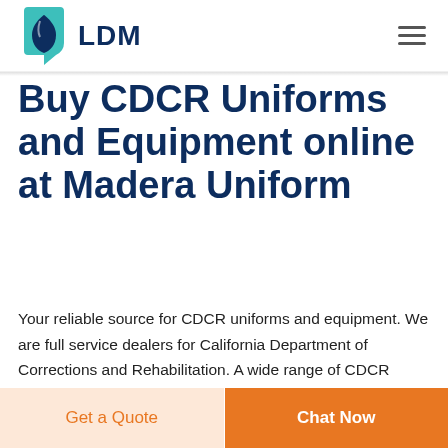LDM
Buy CDCR Uniforms and Equipment online at Madera Uniform
Your reliable source for CDCR uniforms and equipment. We are full service dealers for California Department of Corrections and Rehabilitation. A wide range of CDCR products are available including Discount CDCR Uniform Packages, CDCR
Get a Quote
Chat Now